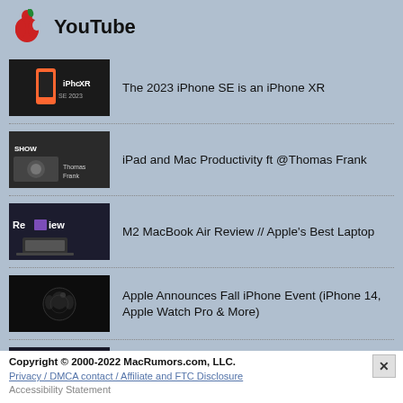YouTube
The 2023 iPhone SE is an iPhone XR
iPad and Mac Productivity ft @Thomas Frank
M2 MacBook Air Review // Apple's Best Laptop
Apple Announces Fall iPhone Event (iPhone 14, Apple Watch Pro & More)
iPhone 14: Time to Upgrade Your Old iPhone?
Copyright © 2000-2022 MacRumors.com, LLC.
Privacy / DMCA contact / Affiliate and FTC Disclosure
Accessibility Statement